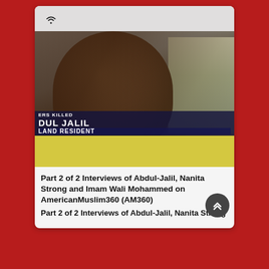[Figure (screenshot): Video thumbnail showing a news interview screenshot with a man's face, ticker text reading 'ERS KILLED' and 'DUL JALIL' and 'LAND RESIDENT', with a podcast/broadcast icon in the top bar]
Part 2 of 2 Interviews of Abdul-Jalil, Nanita Strong and Imam Wali Mohammed on AmericanMuslim360 (AM360)
Part 2 of 2 Interviews of Abdul-Jalil, Nanita Strong